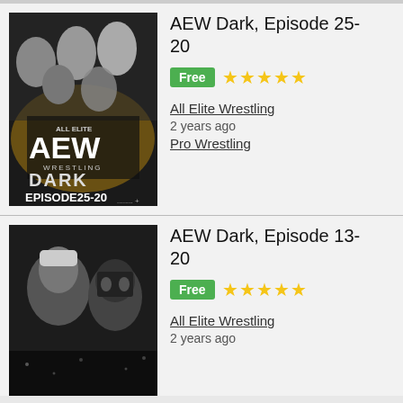[Figure (photo): AEW Dark Episode 25-20 promotional image showing multiple wrestlers including women on dark background with gold AEW Wrestling logo]
AEW Dark, Episode 25-20
Free ★★★★★
All Elite Wrestling
2 years ago
Pro Wrestling
[Figure (photo): AEW Dark Episode 13-20 promotional image showing male wrestlers in black and white with dramatic lighting]
AEW Dark, Episode 13-20
Free ★★★★★
All Elite Wrestling
2 years ago